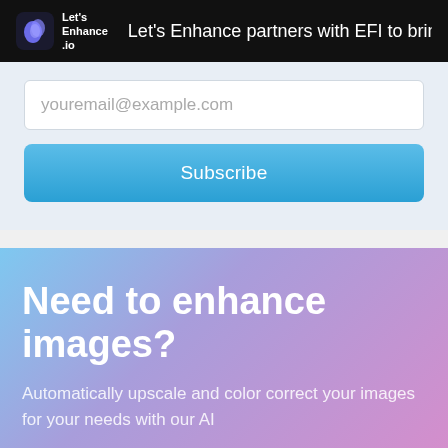Let's Enhance .io — Let's Enhance partners with EFI to bring AI
youremail@example.com
Subscribe
Need to enhance images?
Automatically upscale and color correct your images for your needs with our AI